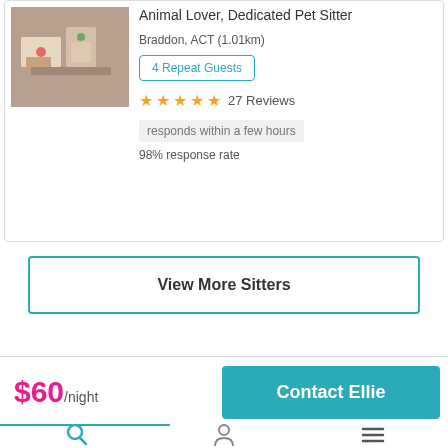[Figure (photo): Photo of a pet sitter's home with gifts/items on a table]
Animal Lover, Dedicated Pet Sitter
Braddon, ACT (1.01km)
4 Repeat Guests
27 Reviews
responds within a few hours
98% response rate
View More Sitters
$60/night
Contact Ellie